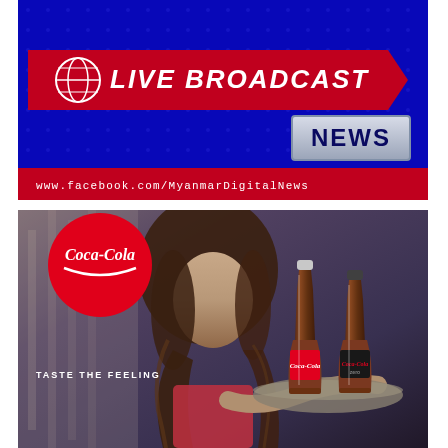[Figure (screenshot): Live Broadcast News banner with blue dot-grid background, red diagonal bar with globe icon and 'LIVE BROADCAST' italic text, 'NEWS' box in silver/grey, and red footer bar with URL www.facebook.com/MyanmarDigitalNews]
[Figure (photo): Coca-Cola advertisement showing a woman carrying a tray with Coca-Cola and Coca-Cola Zero bottles, Coca-Cola logo circle top-left, tagline 'TASTE THE FEELING' in white text]